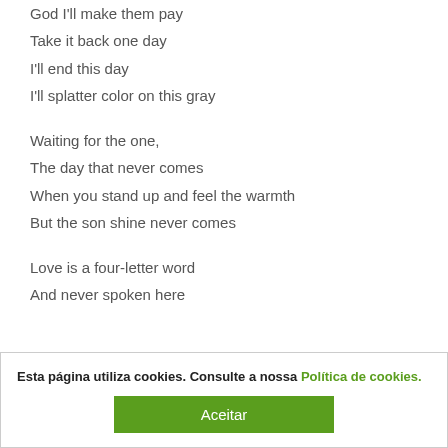God I'll make them pay
Take it back one day
I'll end this day
I'll splatter color on this gray
Waiting for the one,
The day that never comes
When you stand up and feel the warmth
But the son shine never comes
Love is a four-letter word
And never spoken here
Esta página utiliza cookies. Consulte a nossa Política de cookies.
Aceitar